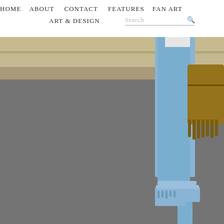HOME   ABOUT   CONTACT   FEATURES   FAN ART
ART & DESIGN   Search
[Figure (photo): Fashion photo showing lower body of a person wearing light blue distressed skinny jeans, denim fringe block-heeled sandals, carrying a tan suede fringe bag, standing on a grey asphalt road with a concrete barrier in the background.]